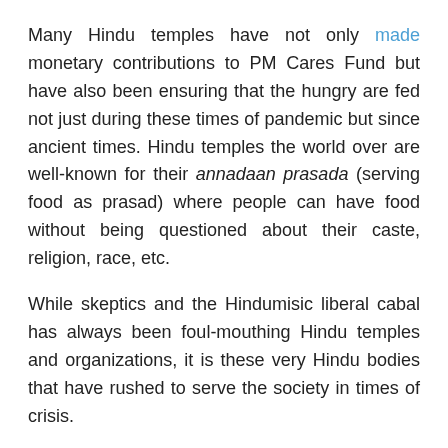Many Hindu temples have not only made monetary contributions to PM Cares Fund but have also been ensuring that the hungry are fed not just during these times of pandemic but since ancient times. Hindu temples the world over are well-known for their annadaan prasada (serving food as prasad) where people can have food without being questioned about their caste, religion, race, etc.
While skeptics and the Hindumisic liberal cabal has always been foul-mouthing Hindu temples and organizations, it is these very Hindu bodies that have rushed to serve the society in times of crisis.
(Featured Image Source: Twitter)
Did you find this article useful? We're a non-profit. Make a